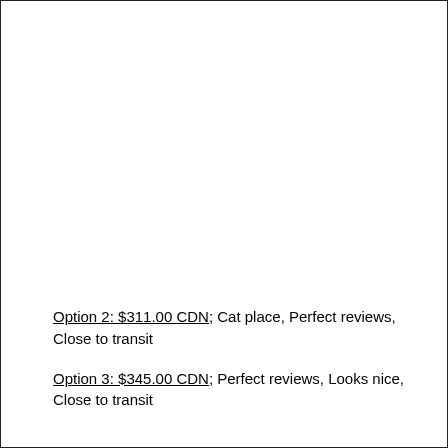Option 2: $311.00 CDN; Cat place, Perfect reviews, Close to transit
Option 3: $345.00 CDN; Perfect reviews, Looks nice, Close to transit